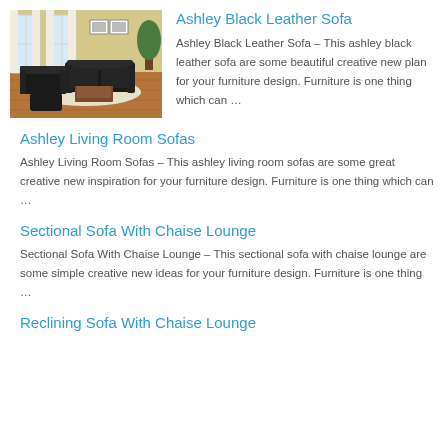[Figure (photo): Living room scene with black leather sofa set including two sofas and an ottoman on a hardwood floor with yellow walls and white curtains]
Ashley Black Leather Sofa
Ashley Black Leather Sofa – This ashley black leather sofa are some beautiful creative new plan for your furniture design. Furniture is one thing which can …
Ashley Living Room Sofas
Ashley Living Room Sofas – This ashley living room sofas are some great creative new inspiration for your furniture design. Furniture is one thing which can …
Sectional Sofa With Chaise Lounge
Sectional Sofa With Chaise Lounge – This sectional sofa with chaise lounge are some simple creative new ideas for your furniture design. Furniture is one thing …
Reclining Sofa With Chaise Lounge